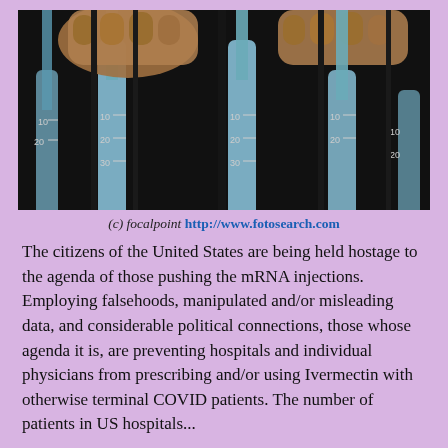[Figure (photo): Two fists gripping vertical syringes like prison bars against a dark background, with syringes showing measurement markings of 10, 20, 30.]
(c) focalpoint http://www.fotosearch.com
The citizens of the United States are being held hostage to the agenda of those pushing the mRNA injections. Employing falsehoods, manipulated and/or misleading data, and considerable political connections, those whose agenda it is, are preventing hospitals and individual physicians from prescribing and/or using Ivermectin with otherwise terminal COVID patients. The number of patients in US hospitals...